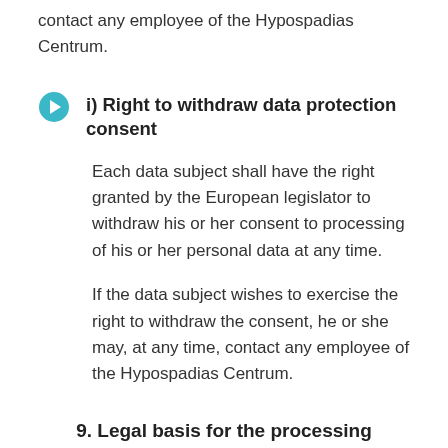contact any employee of the Hypospadias Centrum.
i) Right to withdraw data protection consent
Each data subject shall have the right granted by the European legislator to withdraw his or her consent to processing of his or her personal data at any time.
If the data subject wishes to exercise the right to withdraw the consent, he or she may, at any time, contact any employee of the Hypospadias Centrum.
9. Legal basis for the processing